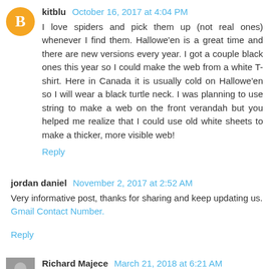kitblu  October 16, 2017 at 4:04 PM
I love spiders and pick them up (not real ones) whenever I find them. Hallowe'en is a great time and there are new versions every year. I got a couple black ones this year so I could make the web from a white T-shirt. Here in Canada it is usually cold on Hallowe'en so I will wear a black turtle neck. I was planning to use string to make a web on the front verandah but you helped me realize that I could use old white sheets to make a thicker, more visible web!
Reply
jordan daniel  November 2, 2017 at 2:52 AM
Very informative post, thanks for sharing and keep updating us.
Gmail Contact Number.
Reply
Richard Majece  March 21, 2018 at 6:21 AM